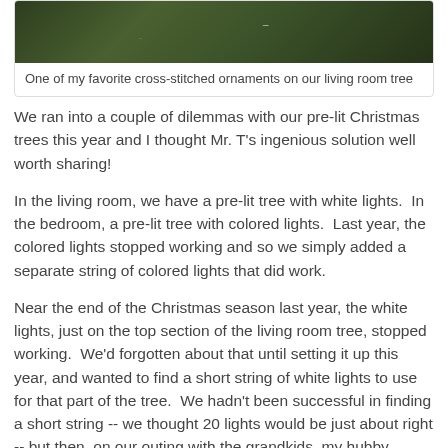[Figure (photo): Close-up photo of a cross-stitched ornament on a Christmas tree with green pine branches]
One of my favorite cross-stitched ornaments on our living room tree
We ran into a couple of dilemmas with our pre-lit Christmas trees this year and I thought Mr. T's ingenious solution well worth sharing!
In the living room, we have a pre-lit tree with white lights.  In the bedroom, a pre-lit tree with colored lights.  Last year, the colored lights stopped working and so we simply added a separate string of colored lights that did work.
Near the end of the Christmas season last year, the white lights, just on the top section of the living room tree, stopped working.  We'd forgotten about that until setting it up this year, and wanted to find a short string of white lights to use for that part of the tree.  We hadn't been successful in finding a short string -- we thought 20 lights would be just about right -- but then, on our outing with the grandkids, my hubby happened upon these in a discount store:
[Figure (photo): Photo of items found in a discount store, partially visible at bottom of page]